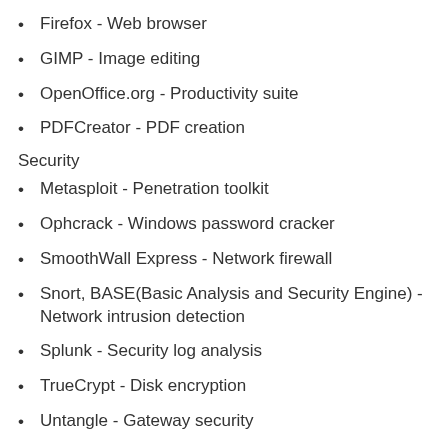Firefox - Web browser
GIMP - Image editing
OpenOffice.org - Productivity suite
PDFCreator - PDF creation
Security
Metasploit - Penetration toolkit
Ophcrack - Windows password cracker
SmoothWall Express - Network firewall
Snort, BASE(Basic Analysis and Security Engine) - Network intrusion detection
Splunk - Security log analysis
TrueCrypt - Disk encryption
Untangle - Gateway security